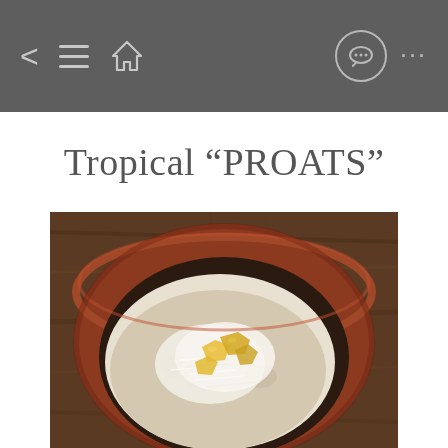Navigation bar with back, menu, home, chat, and more icons
Tropical “PROATS”
[Figure (photo): Close-up top-down view of a rustic brown clay bowl filled with oatmeal topped with shredded coconut and pineapple chunks, placed on a dark wooden surface]